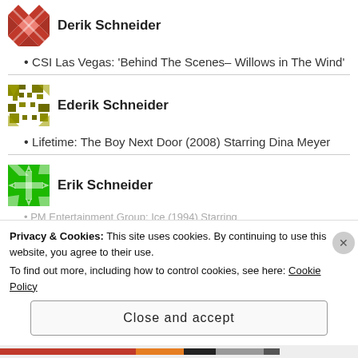[Figure (logo): Red diamond/arrow pattern avatar for Derik Schneider]
Derik Schneider
CSI Las Vegas: 'Behind The Scenes- Willows in The Wind'
[Figure (logo): Olive/dark yellow pixel pattern avatar for Ederik Schneider]
Ederik Schneider
Lifetime: The Boy Next Door (2008) Starring Dina Meyer
[Figure (logo): Green snowflake/cross pattern avatar for Erik Schneider]
Erik Schneider
PM Entertainment Group: Ice (1994) Starring
Privacy & Cookies: This site uses cookies. By continuing to use this website, you agree to their use.
To find out more, including how to control cookies, see here: Cookie Policy
Close and accept